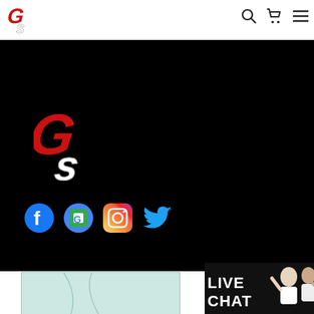[Figure (logo): CS GearSports logo in header, red G and white S italic letters]
[Figure (illustration): Search icon, cart icon, and hamburger menu icon in header navigation]
[Figure (logo): Large CS GearSports logo on black background, red G overlapping white S]
[Figure (illustration): Social media icons row: Facebook, Google Maps, Instagram, Twitter on black background]
[Figure (map): Light colored map/geographic region preview]
[Figure (illustration): Live Chat banner with two excited people holding phones and LIVE CHAT text]